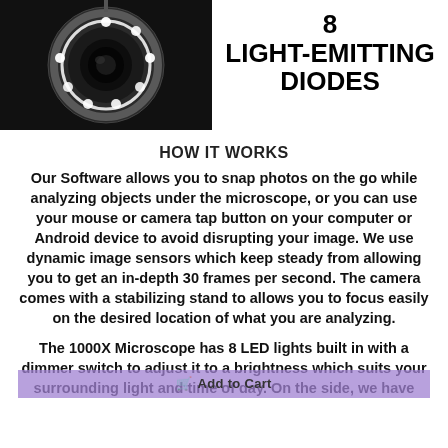[Figure (photo): Close-up photo of a microscope LED ring light attachment on a dark background, showing circular white LEDs arranged in a ring]
8 LIGHT-EMITTING DIODES
HOW IT WORKS
Our Software allows you to snap photos on the go while analyzing objects under the microscope, or you can use your mouse or camera tap button on your computer or Android device to avoid disrupting your image. We use dynamic image sensors which keep steady from allowing you to get an in-depth 30 frames per second. The camera comes with a stabilizing stand to allows you to focus easily on the desired location of what you are analyzing.
The 1000X Microscope has 8 LED lights built in with a dimmer switch to adjust it to a brightness which suits your surrounding light and time of day. On the side, we have